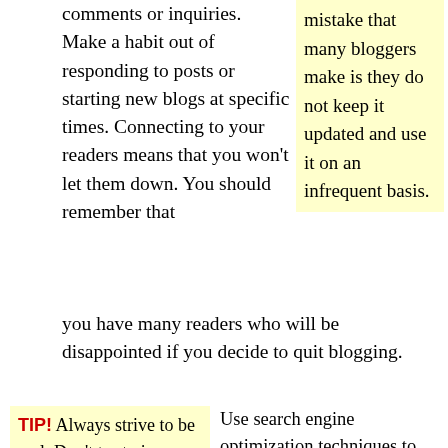comments or inquiries. Make a habit out of responding to posts or starting new blogs at specific times. Connecting to your readers means that you won't let them down. You should remember that you have many readers who will be disappointed if you decide to quit blogging.
mistake that many bloggers make is they do not keep it updated and use it on an infrequent basis.
TIP! Always strive to be real. Don't try to impress readers with how much you know or make it appear that you are perfectly knowledgeable about your topic.
Use search engine optimization techniques to help improve your blog's readership. As you wish to appeal to the widest range of viewers possible, then it is important that the blog is visible within search results. Choose appropriate keywords to use in your titles and posts to help boost